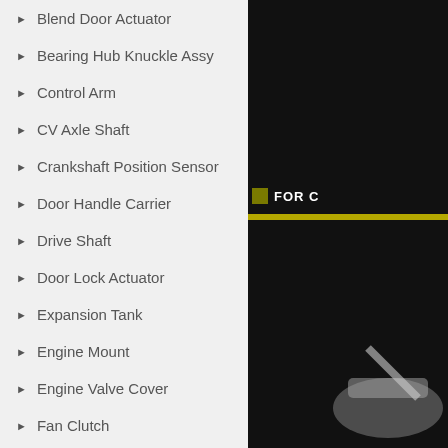Blend Door Actuator
Bearing Hub Knuckle Assy
Control Arm
CV Axle Shaft
Crankshaft Position Sensor
Door Handle Carrier
Drive Shaft
Door Lock Actuator
Expansion Tank
Engine Mount
Engine Valve Cover
Fan Clutch
Fuel Pump Assembly
Fuel Filter Assembly
[Figure (screenshot): Dark panel with 'FOR C' label badge in olive/yellow with a yellow horizontal bar below, and a partial view of a metal automotive part in the lower right]